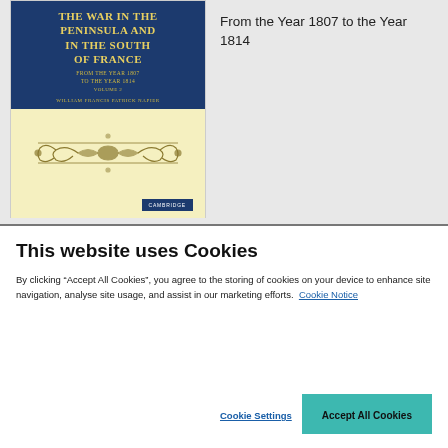[Figure (photo): Book cover of 'The War in the Peninsula and in the South of France: From the Year 1807 to the Year 1814, Volume 2' by William Francis Patrick Napier, published by Cambridge. Dark blue top section with gold/yellow title text, cream/yellow lower section with ornamental scroll decoration, small Cambridge publisher button at bottom right.]
From the Year 1807 to the Year 1814
This website uses Cookies
By clicking “Accept All Cookies”, you agree to the storing of cookies on your device to enhance site navigation, analyse site usage, and assist in our marketing efforts. Cookie Notice
Cookie Settings
Accept All Cookies